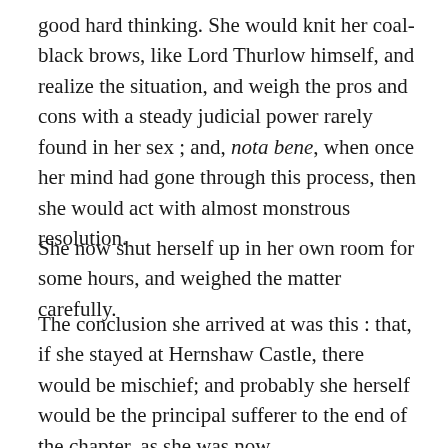good hard thinking. She would knit her coal-black brows, like Lord Thurlow himself, and realize the situation, and weigh the pros and cons with a steady judicial power rarely found in her sex ; and, nota bene, when once her mind had gone through this process, then she would act with almost monstrous resolution.
She now shut herself up in her own room for some hours, and weighed the matter carefully.
The conclusion she arrived at was this : that, if she stayed at Hernshaw Castle, there would be mischief; and probably she herself would be the principal sufferer to the end of the chapter, as she was now.